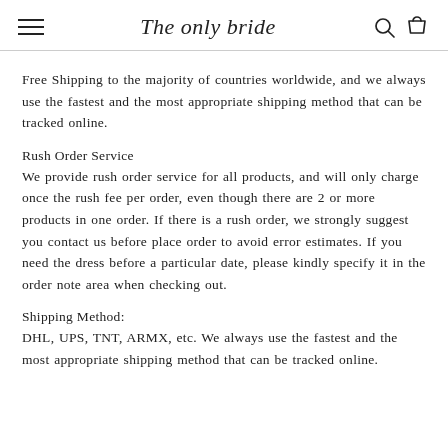The only bride
Free Shipping to the majority of countries worldwide, and we always use the fastest and the most appropriate shipping method that can be tracked online.
Rush Order Service
We provide rush order service for all products, and will only charge once the rush fee per order, even though there are 2 or more products in one order. If there is a rush order, we strongly suggest you contact us before place order to avoid error estimates. If you need the dress before a particular date, please kindly specify it in the order note area when checking out.
Shipping Method:
DHL, UPS, TNT, ARMX, etc. We always use the fastest and the most appropriate shipping method that can be tracked online.